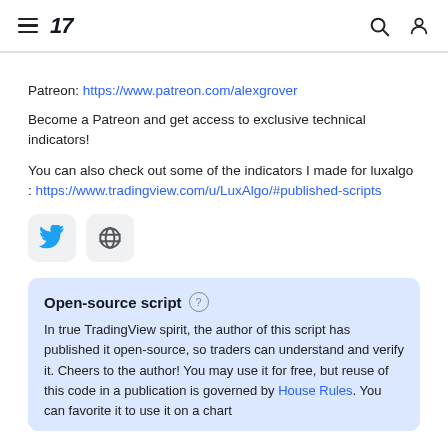TradingView navigation header with hamburger menu, TV logo, search icon, and user icon
Patreon: https://www.patreon.com/alexgrover
Become a Patreon and get access to exclusive technical indicators!
You can also check out some of the indicators I made for luxalgo : https://www.tradingview.com/u/LuxAlgo/#published-scripts
[Figure (illustration): Twitter bird icon button and globe/web icon button]
Open-source script
In true TradingView spirit, the author of this script has published it open-source, so traders can understand and verify it. Cheers to the author! You may use it for free, but reuse of this code in a publication is governed by House Rules. You can favorite it to use it on a chart